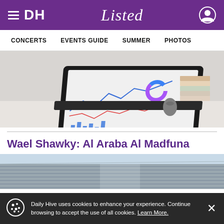DH Listed — navigation header with hamburger menu, DH logo, Listed script logo, and user icon
CONCERTS   EVENTS GUIDE   SUMMER   PHOTOS
[Figure (photo): Laptop on a desk showing dashboard charts and graphs, with stacked books and a computer mouse in background]
Wael Shawky: Al Araba Al Madfuna
[Figure (photo): Partial view of a modern building exterior with grey metal cladding against a light sky]
Daily Hive uses cookies to enhance your experience. Continue browsing to accept the use of all cookies. Learn More.